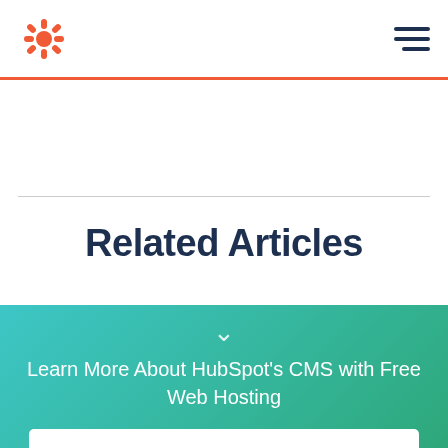HubSpot logo and navigation menu
Related Articles
Learn More About HubSpot's CMS with Free Web Hosting
Get it now